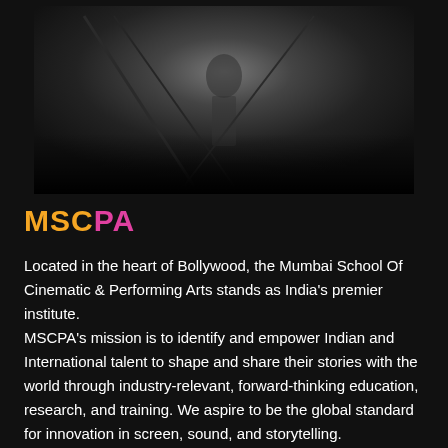[Figure (photo): Black and white photograph, partially visible, showing a figure in a dark cinematic or performance setting]
MSCPA
Located in the heart of Bollywood, the Mumbai School Of Cinematic & Performing Arts stands as India's premier institute.
MSCPA's mission is to identify and empower Indian and International talent to shape and share their stories with the world through industry-relevant, forward-thinking education, research, and training. We aspire to be the global standard for innovation in screen, sound, and storytelling.
Courses are informed and taught by leading industry practitioners and integrate theory and practice, to produce industry-ready graduates. We offer state-of-the-art inspired